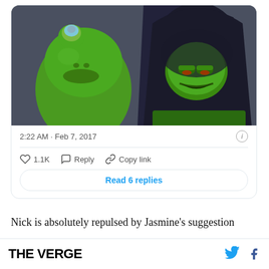[Figure (screenshot): Tweet embed card showing an image of two Kermit the Frog characters facing each other — one regular green Kermit and one wearing a dark hood. Below the image is a timestamp '2:22 AM · Feb 7, 2017', interaction counts (1.1K likes), Reply and Copy link actions, and a 'Read 6 replies' button.]
Nick is absolutely repulsed by Jasmine's suggestion
THE VERGE